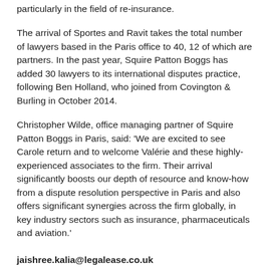particularly in the field of re-insurance.
The arrival of Sportes and Ravit takes the total number of lawyers based in the Paris office to 40, 12 of which are partners. In the past year, Squire Patton Boggs has added 30 lawyers to its international disputes practice, following Ben Holland, who joined from Covington & Burling in October 2014.
Christopher Wilde, office managing partner of Squire Patton Boggs in Paris, said: 'We are excited to see Carole return and to welcome Valérie and these highly-experienced associates to the firm. Their arrival significantly boosts our depth of resource and know-how from a dispute resolution perspective in Paris and also offers significant synergies across the firm globally, in key industry sectors such as insurance, pharmaceuticals and aviation.'
jaishree.kalia@legalease.co.uk